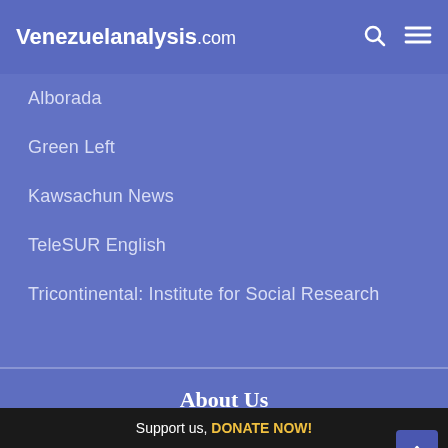Venezuelanalysis.com
Alborada
Green Left
Kawsachun News
TeleSUR English
Tricontinental: Institute for Social Research
About Us
Venezuelanalysis.com is an independent website produced by individuals who are dedicated to disseminating news and analysis about the current political situation in Venezuela (read more).
Support us, DONATE NOW!